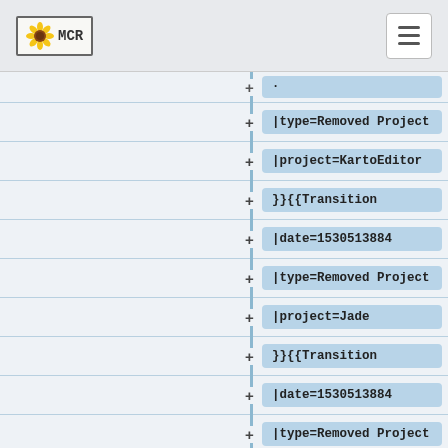[Figure (screenshot): MCR logo in top navigation bar with sunflower icon]
|type=Removed Project
|project=KartoEditor
}}{{Transition
|date=1530513884
|type=Removed Project
|project=Jade
}}{{Transition
|date=1530513884
|type=Removed Project
|project=Tools (Hashtags)
}}{{Transition